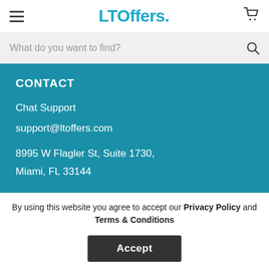LTOffers.
What do you want to find?
CONTACT
Chat Support
support@ltoffers.com
8995 W Flagler St, Suite 1730,
Miami, FL 33144
By using this website you agree to accept our Privacy Policy and Terms & Conditions
Accept